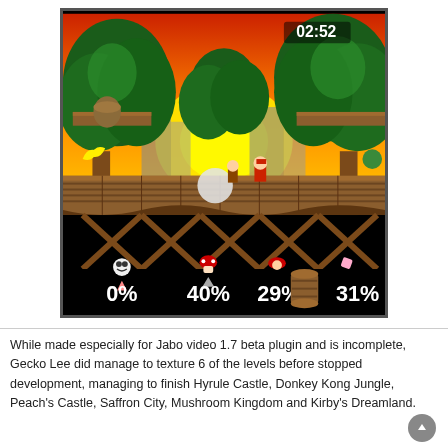[Figure (screenshot): Screenshot of Super Smash Bros. N64 gameplay on Donkey Kong Jungle stage. Shows four characters with damage percentages at bottom: 0%, 40%, 29%, 31%. Timer shows 02:52. Characters include Mario and others on a wooden jungle platform with trees and sunset backdrop.]
While made especially for Jabo video 1.7 beta plugin and is incomplete, Gecko Lee did manage to texture 6 of the levels before stopped development, managing to finish Hyrule Castle, Donkey Kong Jungle, Peach's Castle, Saffron City, Mushroom Kingdom and Kirby's Dreamland.